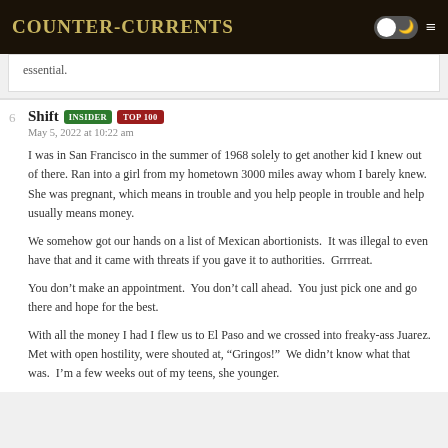Counter-Currents
essential.
Shift  INSIDER  TOP 100
May 5, 2022 at 10:22 am

I was in San Francisco in the summer of 1968 solely to get another kid I knew out of there. Ran into a girl from my hometown 3000 miles away whom I barely knew.  She was pregnant, which means in trouble and you help people in trouble and help usually means money.

We somehow got our hands on a list of Mexican abortionists.  It was illegal to even have that and it came with threats if you gave it to authorities.  Grrrreat.

You don't make an appointment.  You don't call ahead.  You just pick one and go there and hope for the best.

With all the money I had I flew us to El Paso and we crossed into freaky-ass Juarez.  Met with open hostility, were shouted at, "Gringos!"  We didn't know what that was.  I'm a few weeks out of my teens, she younger.